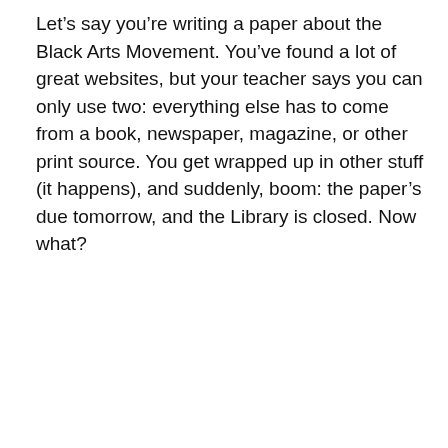Let's say you're writing a paper about the Black Arts Movement. You've found a lot of great websites, but your teacher says you can only use two: everything else has to come from a book, newspaper, magazine, or other print source. You get wrapped up in other stuff (it happens), and suddenly, boom: the paper's due tomorrow, and the Library is closed. Now what?
[Figure (screenshot): Screenshot of The African American Experience database by ABC-CLIO, showing the 'Black Arts Movement (Overview)' article page with topics sidebar, navigation bar, and two photographs.]
Screenshot, The African American Experience – topics section / Black Arts Movement